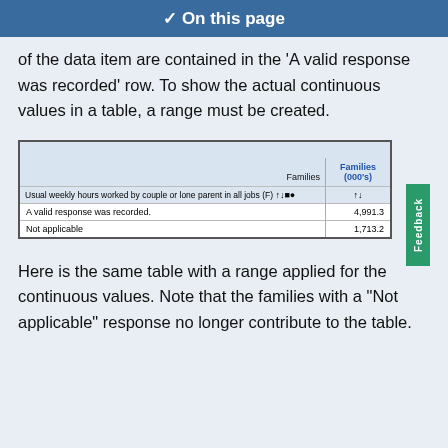On this page
of the data item are contained in the 'A valid response was recorded' row. To show the actual continuous values in a table, a range must be created.
|  | Families | Families (000's) |
| --- | --- | --- |
| Usual weekly hours worked by couple or lone parent in all jobs (F) ↑↓⊕⊙ |  | ↑↓ |
| A valid response was recorded. |  | 4,991.3 |
| Not applicable |  | 1,713.2 |
Here is the same table with a range applied for the continuous values. Note that the families with a "Not applicable" response no longer contribute to the table.